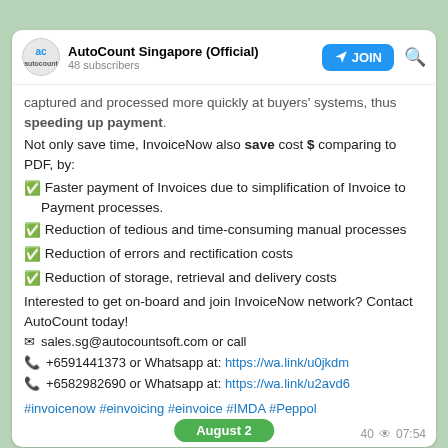AutoCount Singapore (Official) — 48 subscribers
captured and processed more quickly at buyers' systems, thus speeding up payment. Not only save time, InvoiceNow also save cost $ comparing to PDF, by:
✅ Faster payment of Invoices due to simplification of Invoice to Payment processes.
✅ Reduction of tedious and time-consuming manual processes
✅ Reduction of errors and rectification costs
✅ Reduction of storage, retrieval and delivery costs
Interested to get on-board and join InvoiceNow network? Contact AutoCount today!
✉ sales.sg@autocountsoft.com or call
📞 +6591441373 or Whatsapp at: https://wa.link/u0jkdm
📞 +6582982690 or Whatsapp at: https://wa.link/u2avd6
#invoicenow #einvoicing #einvoice #IMDA #Peppol
40 👁 07:54